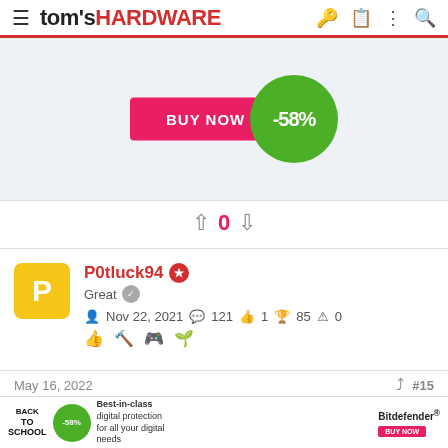tom's HARDWARE
[Figure (screenshot): Ad banner with BUY NOW button and -58% green discount badge]
0
P0tluck94
Great
Nov 22, 2021  121  1  85  0
May 16, 2022  #15
CountMike said:
[Figure (screenshot): Bottom ad banner: Back to School, -58%, Best-in-class digital protection for all your digital needs, Bitdefender BUY NOW]